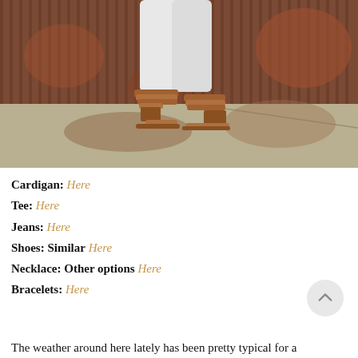[Figure (photo): Close-up photo of a person's legs wearing white jeans and brown strappy heeled sandals, standing on a concrete surface in front of a rusty corrugated metal wall.]
Cardigan: Here
Tee: Here
Jeans: Here
Shoes: Similar Here
Necklace: Other options Here
Bracelets: Here
The weather around here lately has been pretty typical for a